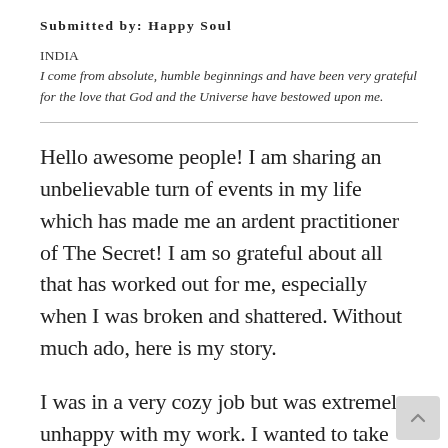Submitted by: Happy Soul
INDIA
I come from absolute, humble beginnings and have been very grateful for the love that God and the Universe have bestowed upon me.
Hello awesome people! I am sharing an unbelievable turn of events in my life which has made me an ardent practitioner of The Secret! I am so grateful about all that has worked out for me, especially when I was broken and shattered. Without much ado, here is my story.
I was in a very cozy job but was extremely unhappy with my work. I wanted to take